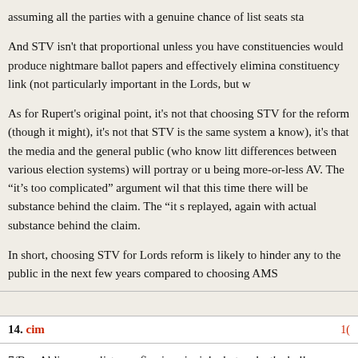assuming all the parties with a genuine chance of list seats sta
And STV isn't that proportional unless you have constituencies would produce nightmare ballot papers and effectively elimina constituency link (not particularly important in the Lords, but w
As for Rupert's original point, it's not that choosing STV for the reform (though it might), it's not that STV is the same system a know), it's that the media and the general public (who know litt differences between various election systems) will portray or u being more-or-less AV. The "it's too complicated" argument wil that this time there will be substance behind the claim. The "it s replayed, again with actual substance behind the claim.
In short, choosing STV for Lords reform is likely to hinder any to the public in the next few years compared to choosing AMS
14. cim
7/Ben Aldin: open lists are fine in principle, but make the ballo